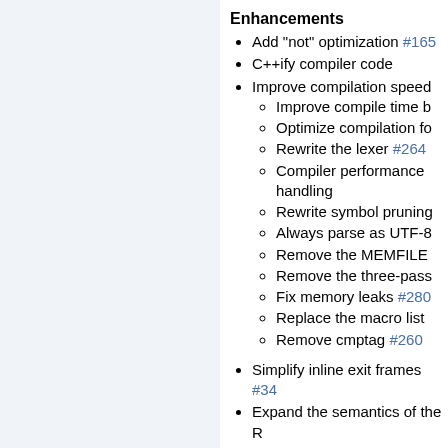Enhancements
Add "not" optimization #165
C++ify compiler code
Improve compilation speed
Improve compile time b
Optimize compilation fo
Rewrite the lexer #264
Compiler performance handling
Rewrite symbol pruning
Always parse as UTF-8
Remove the MEMFILE
Remove the three-pass
Fix memory leaks #280
Replace the macro list
Remove cmptag #260
Simplify inline exit frames #34
Expand the semantics of the R
Introduce a new method of en
Introduce control flow verificat
JIT off the control-flow stream #217
Compute static memory #218
Require a balanced he
Move stack checks to the func